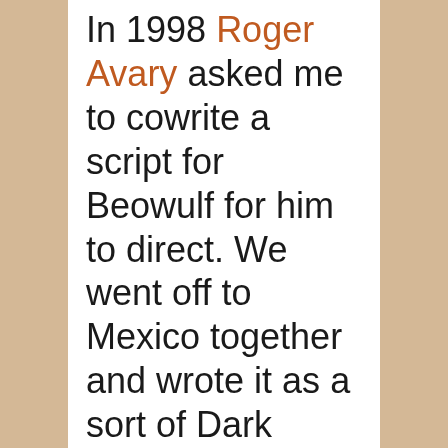In 1998 Roger Avary asked me to cowrite a script for Beowulf for him to direct. We went off to Mexico together and wrote it as a sort of Dark Ages Trainspotting, filled with mead and blood and madness, and we went all the way from the beginning of the poem, with Beowulf